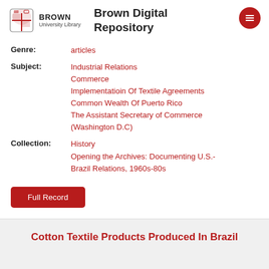Brown Digital Repository
Genre: articles
Subject: Industrial Relations
Commerce
Implementatioin Of Textile Agreements
Common Wealth Of Puerto Rico
The Assistant Secretary of Commerce (Washington D.C)
Collection: History
Opening the Archives: Documenting U.S.-Brazil Relations, 1960s-80s
Full Record
Cotton Textile Products Produced In Brazil